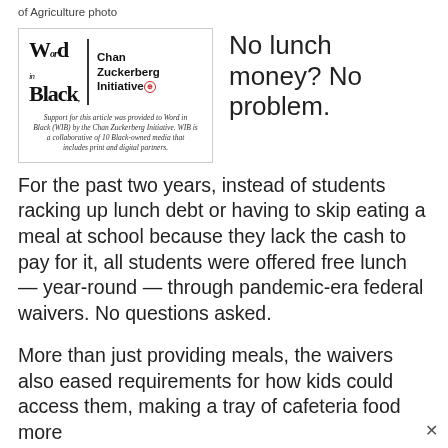of Agriculture photo
[Figure (logo): Word In Black and Chan Zuckerberg Initiative logos side by side, with disclaimer text below: Support for this article was provided to Word in Black (WIB) by the Chan Zuckerberg Initiative. WIB is a collaborative of 10 Black-owned media that includes print and digital partners.]
No lunch money? No problem.
For the past two years, instead of students racking up lunch debt or having to skip eating a meal at school because they lack the cash to pay for it, all students were offered free lunch — year-round — through pandemic-era federal waivers. No questions asked.
More than just providing meals, the waivers also eased requirements for how kids could access them, making a tray of cafeteria food more